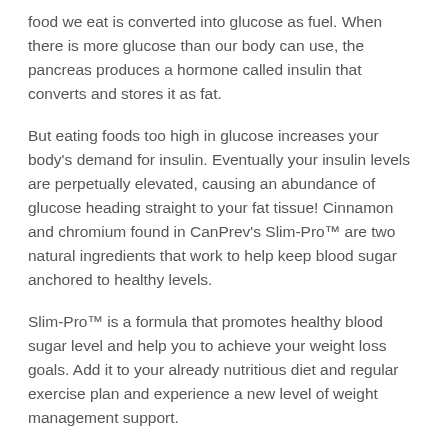food we eat is converted into glucose as fuel. When there is more glucose than our body can use, the pancreas produces a hormone called insulin that converts and stores it as fat.
But eating foods too high in glucose increases your body's demand for insulin. Eventually your insulin levels are perpetually elevated, causing an abundance of glucose heading straight to your fat tissue! Cinnamon and chromium found in CanPrev's Slim-Pro™ are two natural ingredients that work to help keep blood sugar anchored to healthy levels.
Slim-Pro™ is a formula that promotes healthy blood sugar level and help you to achieve your weight loss goals. Add it to your already nutritious diet and regular exercise plan and experience a new level of weight management support.
Recommended Use